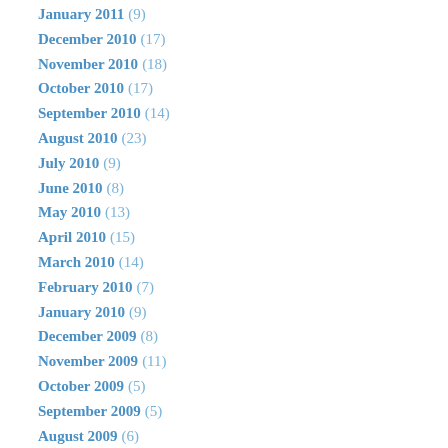January 2011 (9)
December 2010 (17)
November 2010 (18)
October 2010 (17)
September 2010 (14)
August 2010 (23)
July 2010 (9)
June 2010 (8)
May 2010 (13)
April 2010 (15)
March 2010 (14)
February 2010 (7)
January 2010 (9)
December 2009 (8)
November 2009 (11)
October 2009 (5)
September 2009 (5)
August 2009 (6)
July 2009 (6)
June 2009 (6)